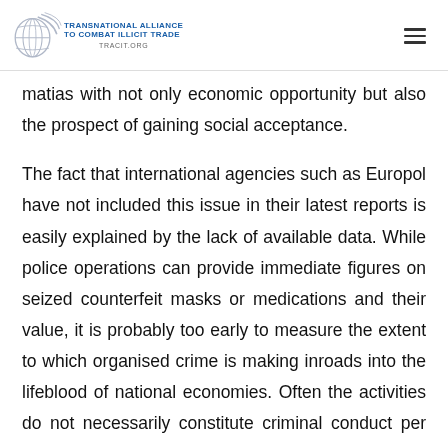TRANSNATIONAL ALLIANCE TO COMBAT ILLICIT TRADE | TRACIT.ORG
matias with not only economic opportunity but also the prospect of gaining social acceptance.
The fact that international agencies such as Europol have not included this issue in their latest reports is easily explained by the lack of available data. While police operations can provide immediate figures on seized counterfeit masks or medications and their value, it is probably too early to measure the extent to which organised crime is making inroads into the lifeblood of national economies. Often the activities do not necessarily constitute criminal conduct per se